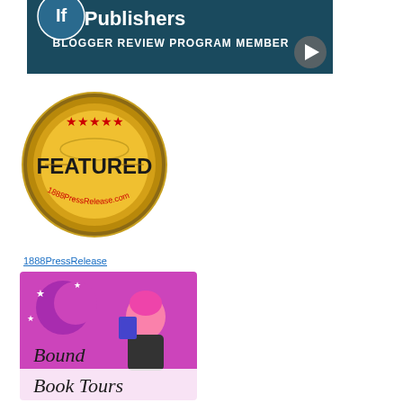[Figure (logo): Dark teal banner with Publishers logo and text 'BLOGGER REVIEW PROGRAM MEMBER' with a play button icon]
[Figure (logo): Gold and black circular badge with red stars reading 'FEATURED' and '1888PressRelease.com']
1888PressRelease
[Figure (logo): Bound Book Tours logo with animated pink-haired girl holding a book on a purple/magenta background]